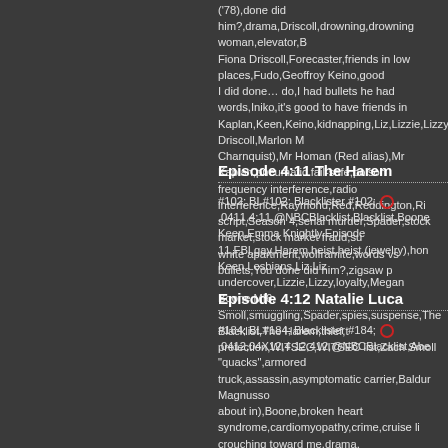('78),done did him?,drama,Driscoll,drowning,drowning woman,elevator,Fiona Driscoll,Forecaster,friends in low places,Fudo,Geoffroy Keino,good,I did done… do,I had bullets he had words,Iniko,it's good to have friends in,Kaplan,Keen,Keino,kidnapping,Liz,Lizzie,Lizzy,Maggie Driscoll,Marlon M,Charnquist),Mr Homan (Red alias),Mr Kaplan,pneumatic fail-safe,poison,frequency interference,radio interference,Raymond,Red,Reddington,Ri,script,Season 4,serial murder,Spader,stock market,stock market fraud,su,white apartment,wolframite,words vs bullets,You done did him?,zigsaw p
Episode 4:11 The Harem
#102; BL#102; Blacklister #102; 🔴,0411,4:11,@NBCBlacklist,Blacklist,Boone,Keen,Emma Knightly,Episode 11,FBI,gay,Harem,heist,heist (jewelry),hon,Keen,Lesbians,Liz,Liz undercover,Lizzie,Lizzy,loyalty,Megan Boone,MI6,Smoll,smuggling,Spader,spies,suspense,The Blacklist,The Harem,thief,t,protection,WITSEC,WITSEC list,Zach Smoll
Episode 4:12 Natalie Luca
#184; BL#184; Blacklister #184; 🔴,0412,04X12,4.12,412,@NBCBlacklist,Abe,"quacks",armored truck,assassin,asymptomatic carrier,Baldur Magnusso,about in),Boone,broken heart syndrome,cardiomyopathy,crime,cruise li,crouching toward me,drama,🍵"quack"🍵,echo of the past,Edgar Legate,E,sea,Episode 12,fathomless sea,fear of death,female/male pay equity,fishin,grieving surge,Hawthorne Biologics,HAZMAT,Holcombe's annual poker,you,I'd do anything for you,illusion,immunity,James Spader,just an echo,Lizzy,look each other in the eye,Lost my (shirt),lovers (star-crossed),Luca,male/female pay equity,Malik Roumain,Malik Roumain killed,Mallon,Ma